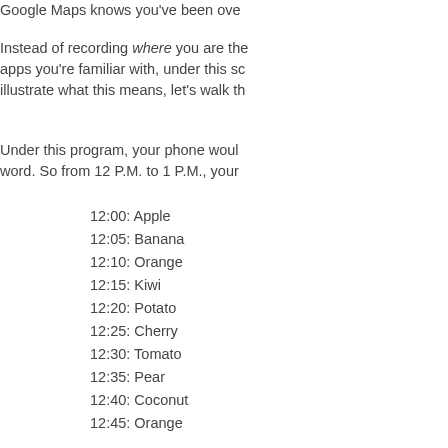Google Maps knows you've been ove
Instead of recording where you are the apps you're familiar with, under this sc illustrate what this means, let's walk th
Under this program, your phone woul word. So from 12 P.M. to 1 P.M., your
12:00: Apple
12:05: Banana
12:10: Orange
12:15: Kiwi
12:20: Potato
12:25: Cherry
12:30: Tomato
12:35: Pear
12:40: Coconut
12:45: Orange
12:50: Peach
12:55: Eggplant
13:00: Kumquat
In this system, no other phone is send Kumquat, it's because their phone was Kumquat in its archive, it means that l